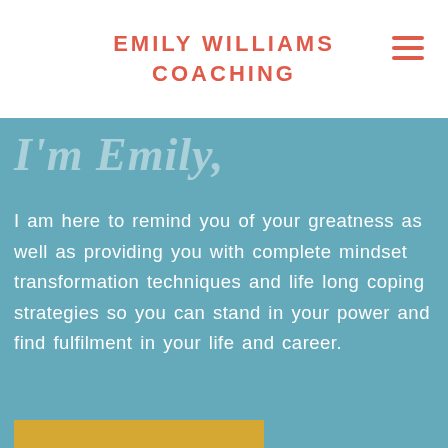EMILY WILLIAMS COACHING
I'm Emily,
I am here to remind you of your greatness as well as providing you with complete mindset transformation techniques and life long coping strategies so you can stand in your power and find fulfilment in your life and career.